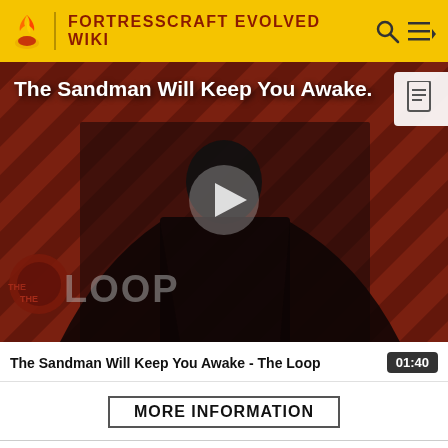FORTRESSCRAFT EVOLVED WIKI
[Figure (screenshot): Video thumbnail for 'The Sandman Will Keep You Awake - The Loop' showing a figure in black with diagonal stripe background and The Loop watermark, with a play button in the center.]
The Sandman Will Keep You Awake - The Loop  01:40
MORE INFORMATION
Top Contributors